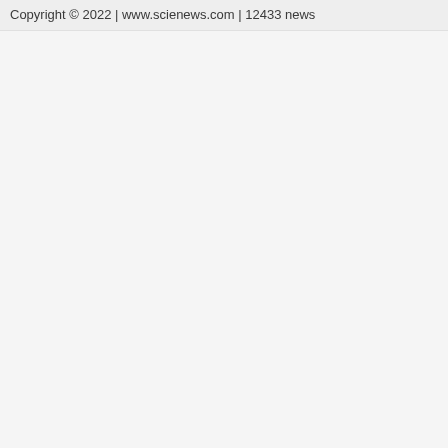Copyright © 2022 | www.scienews.com | 12433 news